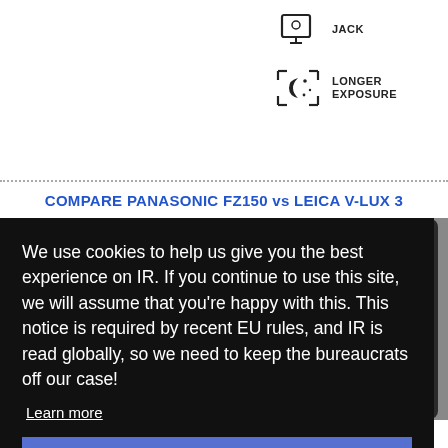[Figure (infographic): Icon for headphone jack - a monitor/screen icon with text JACK]
[Figure (infographic): Icon for longer exposure - a night mode camera icon with bracket corners, text LONGER EXPOSURE]
COMPARE PANASONIC FZ150 vs LEICA V-LUX 3
We use cookies to help us give you the best experience on IR. If you continue to use this site, we will assume that you're happy with this. This notice is required by recent EU rules, and IR is read globally, so we need to keep the bureaucrats off our case!
Learn more
Got it!
PANORAMAS